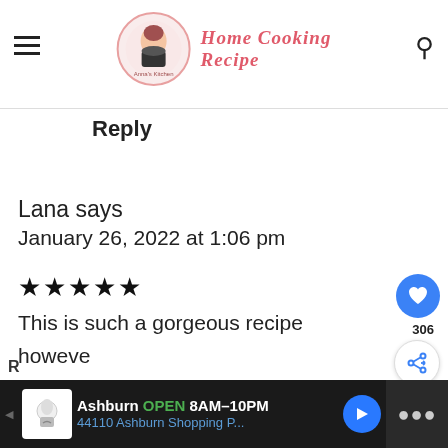Home Cooking Recipe
Reply
Lana says
January 26, 2022 at 1:06 pm
★★★★★
This is such a gorgeous recipe however can't get the chicken quite as crispy as my local takeaway. Not sure wh... do hmm
[Figure (screenshot): Ad bar at bottom: Ashburn OPEN 8AM-10PM, 44110 Ashburn Shopping P...]